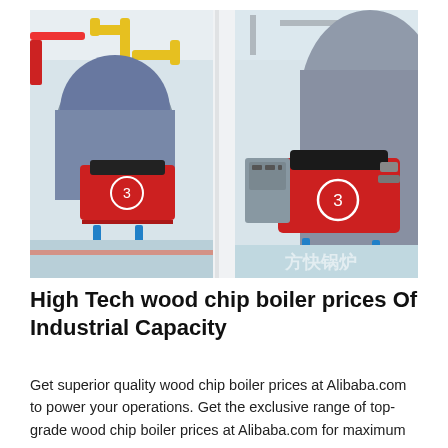[Figure (photo): Industrial boiler room showing multiple large cylindrical boilers with red burner units labeled with circled number 3, yellow pipes overhead, blue support legs, blue-painted floor, white columns separating two views of the same facility. Chinese watermark text visible in lower right corner.]
High Tech wood chip boiler prices Of Industrial Capacity
Get superior quality wood chip boiler prices at Alibaba.com to power your operations. Get the exclusive range of top-grade wood chip boiler prices at Alibaba.com for maximum